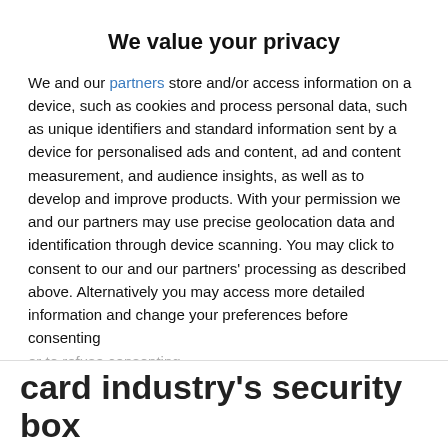We value your privacy
We and our partners store and/or access information on a device, such as cookies and process personal data, such as unique identifiers and standard information sent by a device for personalised ads and content, ad and content measurement, and audience insights, as well as to develop and improve products. With your permission we and our partners may use precise geolocation data and identification through device scanning. You may click to consent to our and our partners' processing as described above. Alternatively you may access more detailed information and change your preferences before consenting or to refuse consenting.
AGREE
MORE OPTIONS
card industry's security box